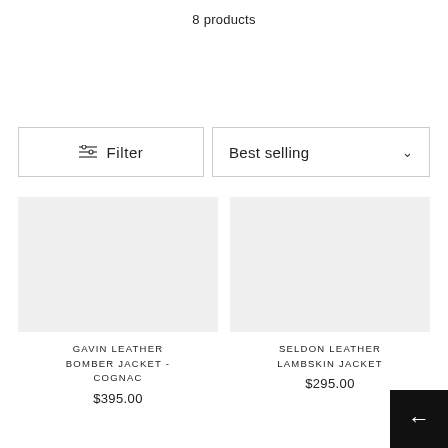8 products
Filter
Best selling
GAVIN LEATHER BOMBER JACKET - COGNAC
$395.00
SELDON LEATHER LAMBSKIN JACKET
$295.00